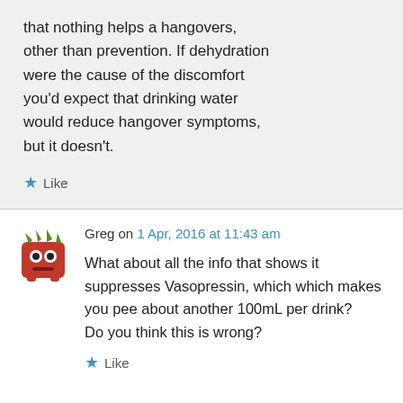that nothing helps a hangovers, other than prevention. If dehydration were the cause of the discomfort you'd expect that drinking water would reduce hangover symptoms, but it doesn't.
★ Like
Greg on 1 Apr, 2016 at 11:43 am
What about all the info that shows it suppresses Vasopressin, which which makes you pee about another 100mL per drink?
Do you think this is wrong?